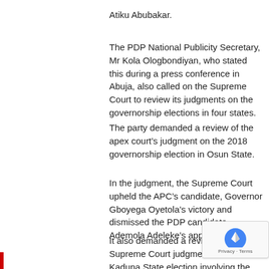Atiku Abubakar.
The PDP National Publicity Secretary, Mr Kola Ologbondiyan, who stated this during a press conference in Abuja, also called on the Supreme Court to review its judgments on the governorship elections in four states.
The party demanded a review of the apex court’s judgment on the 2018 governorship election in Osun State.
In the judgment, the Supreme Court upheld the APC’s candidate, Governor Gboyega Oyetola’s victory and dismissed the PDP candidate, Ademola Adeleke’s appeal.
It also demanded a review of the Supreme Court judgment on the 2019 Kaduna State election involving the APC candidate, Nasir El-Rufai, and his PDP opponent, Isah Ashiru.